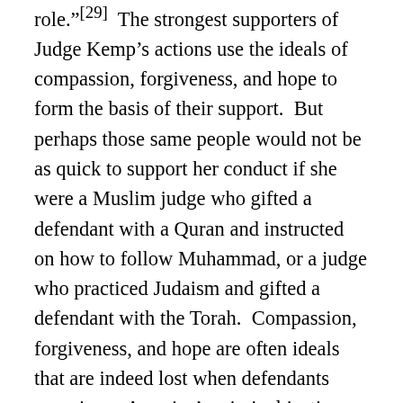role."[29]  The strongest supporters of Judge Kemp's actions use the ideals of compassion, forgiveness, and hope to form the basis of their support.  But perhaps those same people would not be as quick to support her conduct if she were a Muslim judge who gifted a defendant with a Quran and instructed on how to follow Muhammad, or a judge who practiced Judaism and gifted a defendant with the Torah.  Compassion, forgiveness, and hope are often ideals that are indeed lost when defendants experience America's criminal justice system.  Finding ways to ensure all defendants, not just a select few, experience compassion, forgiveness, and hope despite their mistakes is an important goal that the criminal justice system should have. No resolution is ever a land